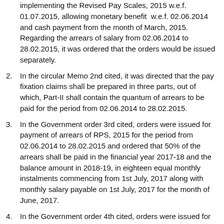implementing the Revised Pay Scales, 2015 w.e.f. 01.07.2015, allowing monetary benefit w.e.f. 02.06.2014 and cash payment from the month of March, 2015. Regarding the arrears of salary from 02.06.2014 to 28.02.2015, it was ordered that the orders would be issued separately.
2. In the circular Memo 2nd cited, it was directed that the pay fixation claims shall be prepared in three parts, out of which, Part-II shall contain the quantum of arrears to be paid for the period from 02.06.2014 to 28.02.2015.
3. In the Government order 3rd cited, orders were issued for payment of arrears of RPS, 2015 for the period from 02.06.2014 to 28.02.2015 and ordered that 50% of the arrears shall be paid in the financial year 2017-18 and the balance amount in 2018-19, in eighteen equal monthly instalments commencing from 1st July, 2017 along with monthly salary payable on 1st July, 2017 for the month of June, 2017.
4. In the Government order 4th cited, orders were issued for payment of pension arrears of RPS, 2015 for the period from 02.06.2014 to 28.02.2015 and ordered that 50% of the arrears shall be paid in the financial year 2017-18 and the balance amount in 2018-19, in eighteen equal monthly installments